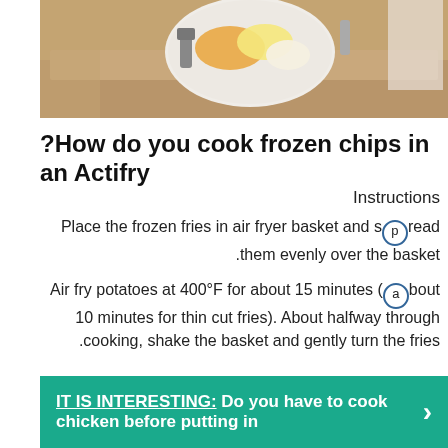[Figure (photo): Photo of a person at a table holding a plate with fried food including chips, eggs, and beans]
?How do you cook frozen chips in an Actifry
Instructions
Place the frozen fries in air fryer basket and spread them evenly over the basket.
Air fry potatoes at 400°F for about 15 minutes (about 10 minutes for thin cut fries). About halfway through cooking, shake the basket and gently turn the fries.
...
If needed, cook for additional 1-2 minutes to crisp up.
IT IS INTERESTING:  Do you have to cook chicken before putting in